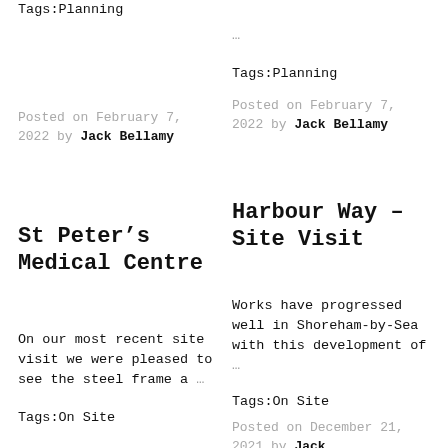Tags:Planning
...
Tags:Planning
Posted on February 7, 2022 by Jack Bellamy
Posted on February 7, 2022 by Jack Bellamy
St Peter's Medical Centre
Harbour Way – Site Visit
On our most recent site visit we were pleased to see the steel frame a ...
Works have progressed well in Shoreham-by-Sea with this development of ...
Tags:On Site
Tags:On Site
Posted on December 21, 2021 by Jack